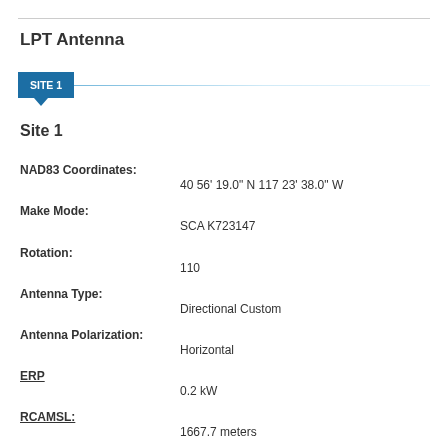LPT Antenna
SITE 1
Site 1
NAD83 Coordinates:
40 56' 19.0" N 117 23' 38.0" W
Make Mode:
SCA K723147
Rotation:
110
Antenna Type:
Directional Custom
Antenna Polarization:
Horizontal
ERP
0.2 kW
RCAMSL:
1667.7 meters